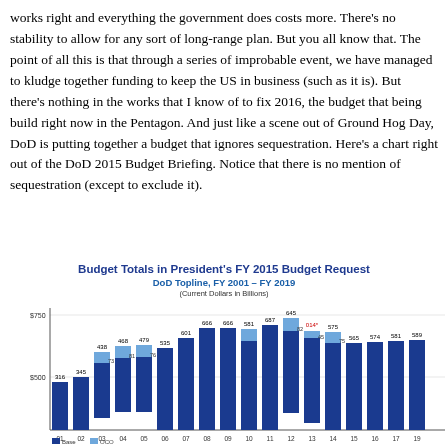works right and everything the government does costs more. There's no stability to allow for any sort of long-range plan. But you all know that. The point of all this is that through a series of improbable event, we have managed to kludge together funding to keep the US in business (such as it is). But there's nothing in the works that I know of to fix 2016, the budget that being build right now in the Pentagon. And just like a scene out of Ground Hog Day, DoD is putting together a budget that ignores sequestration. Here's a chart right out of the DoD 2015 Budget Briefing. Notice that there is no mention of sequestration (except to exclude it).
[Figure (stacked-bar-chart): Budget Totals in President's FY 2015 Budget Request — DoD Topline, FY 2001 – FY 2019]